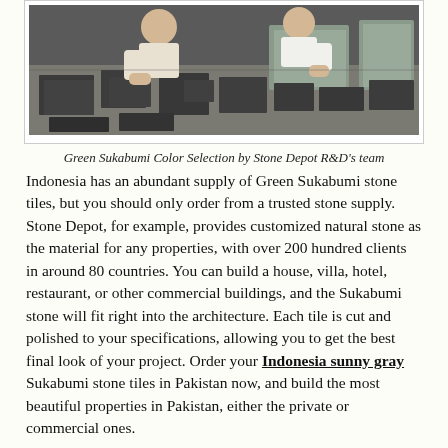[Figure (photo): Photo of workers performing Green Sukabumi stone color selection process, handling flat stone tiles on a table]
Green Sukabumi Color Selection by Stone Depot R&D's team
Indonesia has an abundant supply of Green Sukabumi stone tiles, but you should only order from a trusted stone supply. Stone Depot, for example, provides customized natural stone as the material for any properties, with over 200 hundred clients in around 80 countries. You can build a house, villa, hotel, restaurant, or other commercial buildings, and the Sukabumi stone will fit right into the architecture. Each tile is cut and polished to your specifications, allowing you to get the best final look of your project. Order your Indonesia sunny gray Sukabumi stone tiles in Pakistan now, and build the most beautiful properties in Pakistan, either the private or commercial ones.
If any further assistance, you need regarding our Indonesia sunny gray, please click this Whatsapp link to contact us directly: https://wa.me/6285336906433 (Putri) or email: info@dw-